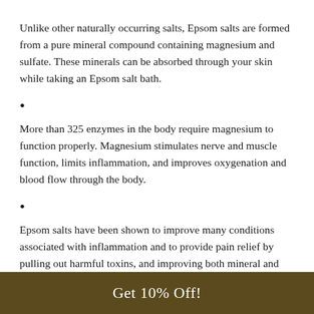Unlike other naturally occurring salts, Epsom salts are formed from a pure mineral compound containing magnesium and sulfate. These minerals can be absorbed through your skin while taking an Epsom salt bath.
More than 325 enzymes in the body require magnesium to function properly. Magnesium stimulates nerve and muscle function, limits inflammation, and improves oxygenation and blood flow through the body.
Epsom salts have been shown to improve many conditions associated with inflammation and to provide pain relief by pulling out harmful toxins, and improving both mineral and
Get 10% Off!